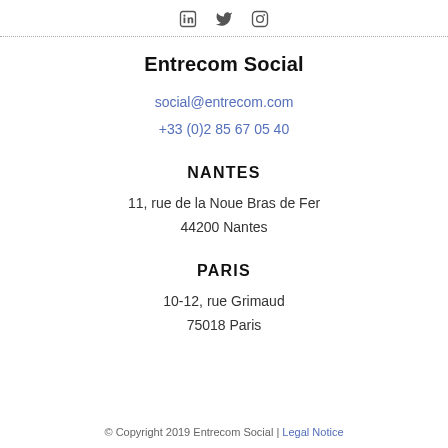[Figure (infographic): Three social media icons: LinkedIn, Twitter, Instagram]
Entrecom Social
social@entrecom.com
+33 (0)2 85 67 05 40
NANTES
11, rue de la Noue Bras de Fer
44200 Nantes
PARIS
10-12, rue Grimaud
75018 Paris
© Copyright 2019 Entrecom Social | Legal Notice